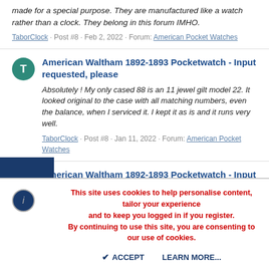made for a special purpose. They are manufactured like a watch rather than a clock. They belong in this forum IMHO.
TaborClock · Post #8 · Feb 2, 2022 · Forum: American Pocket Watches
American Waltham 1892-1893 Pocketwatch - Input requested, please
Absolutely ! My only cased 88 is an 11 jewel gilt model 22. It looked original to the case with all matching numbers, even the balance, when I serviced it. I kept it as is and it runs very well.
TaborClock · Post #8 · Jan 11, 2022 · Forum: American Pocket Watches
American Waltham 1892-1893 Pocketwatch - Input requested, please
This site uses cookies to help personalise content, tailor your experience and to keep you logged in if you register. By continuing to use this site, you are consenting to our use of cookies.
ACCEPT
LEARN MORE...